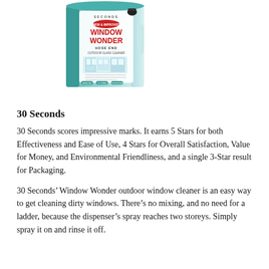[Figure (photo): Product photo of 30 Seconds Window Wonder Hose End outdoor glass cleaner bottle, teal and white packaging with red logo text]
30 Seconds
30 Seconds scores impressive marks. It earns 5 Stars for both Effectiveness and Ease of Use, 4 Stars for Overall Satisfaction, Value for Money, and Environmental Friendliness, and a single 3-Star result for Packaging.
30 Seconds’ Window Wonder outdoor window cleaner is an easy way to get cleaning dirty windows. There’s no mixing, and no need for a ladder, because the dispenser’s spray reaches two storeys. Simply spray it on and rinse it off.